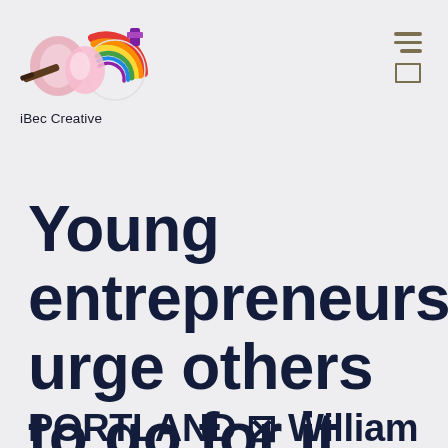[Figure (logo): iBec Creative colorful logo with paint brush and rainbow-colored circular design elements]
iBec Creative
Young entrepreneurs urge others to go for it
PORTLAND — William